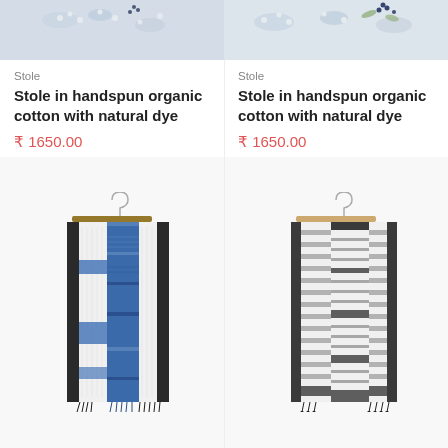[Figure (photo): Top portion of a stole product photo with floral background, left column]
[Figure (photo): Top portion of a stole product photo with floral background, right column]
Stole
Stole in handspun organic cotton with natural dye
₹ 1650.00
Stole
Stole in handspun organic cotton with natural dye
₹ 1650.00
[Figure (photo): Blue and white handspun organic cotton stole hanging on a wooden hanger]
[Figure (photo): Grey and white striped handspun organic cotton stole hanging on a hanger]